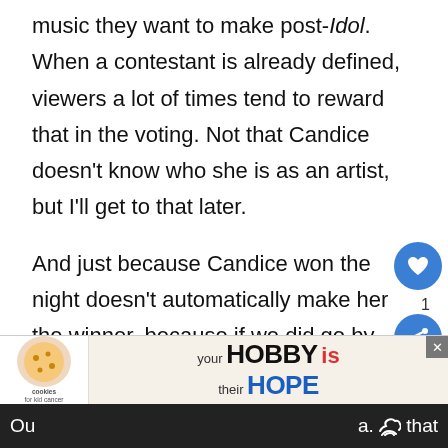music they want to make post-Idol. When a contestant is already defined, viewers a lot of times tend to reward that in the voting. Not that Candice doesn't know who she is as an artist, but I'll get to that later.
And just because Candice won the night doesn't automatically make her the winner, because if we did go by that standard, the Clay Aiken, Crystal Bowersox and Lauren Alaina would have won.
[Figure (screenshot): UI overlay with like button (heart icon, blue circle), count of 1, share button (blue circle with share icon), and a 'What's Next' panel showing Top 10 Richest Actors in th... with a thumbnail avatar]
[Figure (screenshot): Advertisement banner: cookies for kid cancer logo on left, large text 'your HOBBY is their HOPE' in center, with close X button]
Ou                                                     a.    that